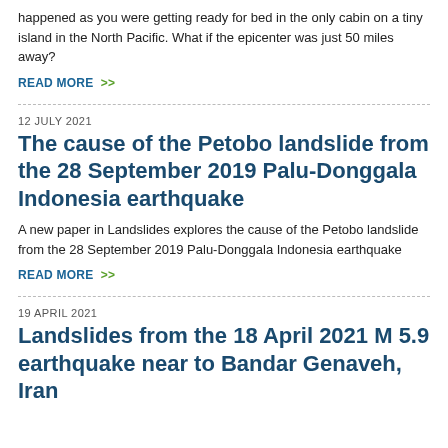happened as you were getting ready for bed in the only cabin on a tiny island in the North Pacific. What if the epicenter was just 50 miles away?
READ MORE >>
12 JULY 2021
The cause of the Petobo landslide from the 28 September 2019 Palu-Donggala Indonesia earthquake
A new paper in Landslides explores the cause of the Petobo landslide from the 28 September 2019 Palu-Donggala Indonesia earthquake
READ MORE >>
19 APRIL 2021
Landslides from the 18 April 2021 M 5.9 earthquake near to Bandar Genaveh, Iran